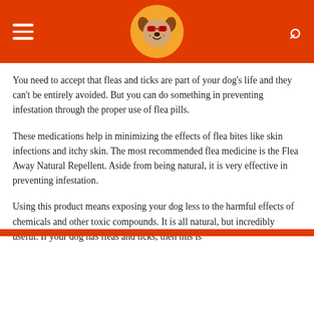Navigation header with logo and menu/search icons
You need to accept that fleas and ticks are part of your dog's life and they can't be entirely avoided. But you can do something in preventing infestation through the proper use of flea pills.
These medications help in minimizing the effects of flea bites like skin infections and itchy skin. The most recommended flea medicine is the Flea Away Natural Repellent. Aside from being natural, it is very effective in preventing infestation.
Using this product means exposing your dog less to the harmful effects of chemicals and other toxic compounds. It is all natural, but incredibly useful. If your dog has fleas and ticks, then this is